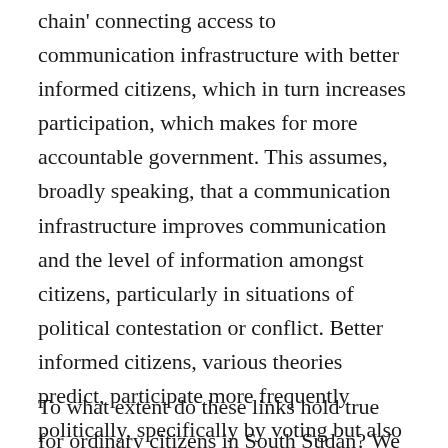chain' connecting access to communication infrastructure with better informed citizens, which in turn increases participation, which makes for more accountable government. This assumes, broadly speaking, that a communication infrastructure improves communication and the level of information amongst citizens, particularly in situations of political contestation or conflict. Better informed citizens, various theories predict, participate more frequently politically, specifically by voting but also by contacting political figures directly. This in turn, could lead to more accountable government, and with that, contribute to statebuilding.
To what extent do these links hold true for ordinary citizens in South Sudan? We use Tanzania's...